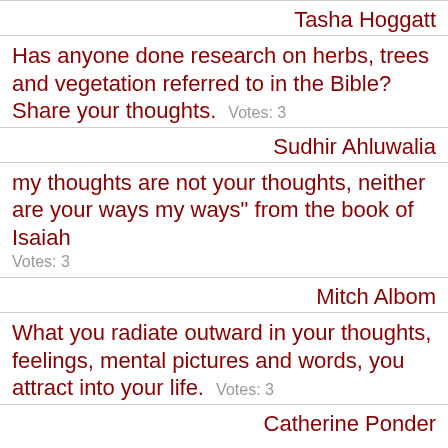Tasha Hoggatt
Has anyone done research on herbs, trees and vegetation referred to in the Bible? Share your thoughts. Votes: 3
Sudhir Ahluwalia
my thoughts are not your thoughts, neither are your ways my ways" from the book of Isaiah Votes: 3
Mitch Albom
What you radiate outward in your thoughts, feelings, mental pictures and words, you attract into your life. Votes: 3
Catherine Ponder